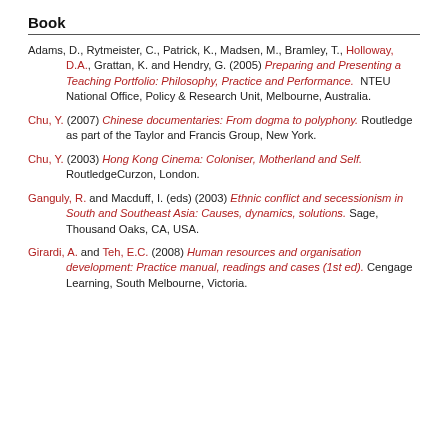Book
Adams, D., Rytmeister, C., Patrick, K., Madsen, M., Bramley, T., Holloway, D.A., Grattan, K. and Hendry, G. (2005) Preparing and Presenting a Teaching Portfolio: Philosophy, Practice and Performance. NTEU National Office, Policy & Research Unit, Melbourne, Australia.
Chu, Y. (2007) Chinese documentaries: From dogma to polyphony. Routledge as part of the Taylor and Francis Group, New York.
Chu, Y. (2003) Hong Kong Cinema: Coloniser, Motherland and Self. RoutledgeCurzon, London.
Ganguly, R. and Macduff, I. (eds) (2003) Ethnic conflict and secessionism in South and Southeast Asia: Causes, dynamics, solutions. Sage, Thousand Oaks, CA, USA.
Girardi, A. and Teh, E.C. (2008) Human resources and organisation development: Practice manual, readings and cases (1st ed). Cengage Learning, South Melbourne, Victoria.